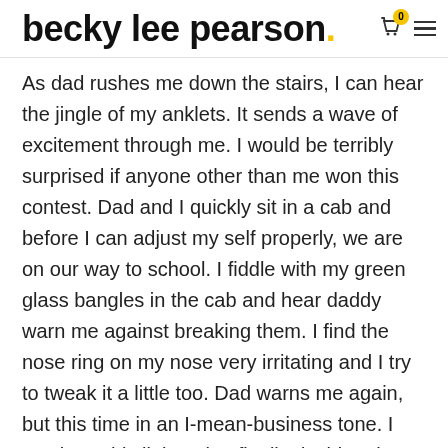becky lee pearson.
As dad rushes me down the stairs, I can hear the jingle of my anklets. It sends a wave of excitement through me. I would be terribly surprised if anyone other than me won this contest. Dad and I quickly sit in a cab and before I can adjust my self properly, we are on our way to school. I fiddle with my green glass bangles in the cab and hear daddy warn me against breaking them. I find the nose ring on my nose very irritating and I try to tweak it a little too. Dad warns me again, but this time in an I-mean-business tone. I can bear this little pain I finally decide. The joys of the getting the prize will make me forget this slight soreness on my nose.
When we reach the school gate, dad alights first and pays the taxi driver. He then gently carries me out of the